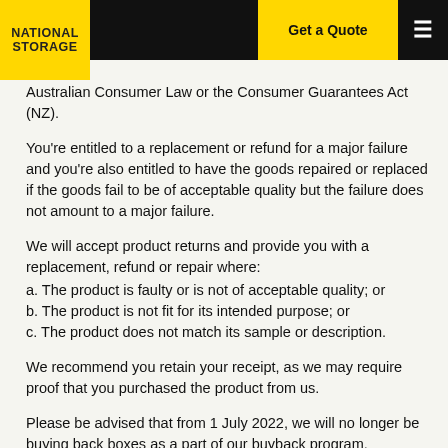Get a Quote | National Storage
Australian Consumer Law or the Consumer Guarantees Act (NZ).
You're entitled to a replacement or refund for a major failure and you're also entitled to have the goods repaired or replaced if the goods fail to be of acceptable quality but the failure does not amount to a major failure.
We will accept product returns and provide you with a replacement, refund or repair where:
a. The product is faulty or is not of acceptable quality; or
b. The product is not fit for its intended purpose; or
c. The product does not match its sample or description.
We recommend you retain your receipt, as we may require proof that you purchased the product from us.
Please be advised that from 1 July 2022, we will no longer be buying back boxes as a part of our buyback program.